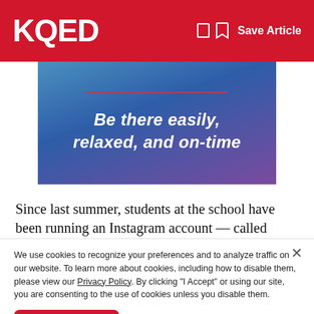KQED  Save Article
[Figure (illustration): Blue-to-purple gradient advertisement banner with italic white bold text reading 'Be there easily, relaxed, and on-time' and a red horizontal line above the text]
Since last summer, students at the school have been running an Instagram account — called @odowdprotectors — where students have been posting with the account and
We use cookies to recognize your preferences and to analyze traffic on our website. To learn more about cookies, including how to disable them, please view our Privacy Policy. By clicking "I Accept" or using our site, you are consenting to the use of cookies unless you disable them.
I Accept